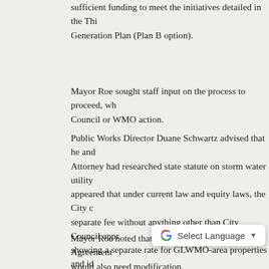sufficient funding to meet the initiatives detailed in the Third Generation Plan (Plan B option).
Mayor Roe sought staff input on the process to proceed, whether it required City Council or WMO action.
Public Works Director Duane Schwartz advised that he and the City Attorney had researched state statute on storm water utility and it appeared that under current law and equity laws, the City could set a separate fee without anything other than City Council approval, showing a separate rate for GLWMO-area properties and identifying that portion for the annual fee on property tax statements.
Mayor Roe noted that the existing Joint Powers Agreement (JPA) would also need modification.
Mr. Schwartz responded affirmatively, noting that the JPA may need other modifications as well based on the Third Generation Plan.
Further discussion included defining the actual boundary of the GLWMO as a government body and bodies outside that jurisdiction protected that are outside that jurisdiction, but included in either Pine Bend Watershed District (PLWD) or the Capitol Region...